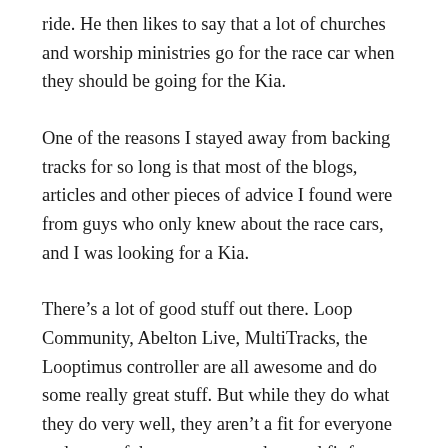ride. He then likes to say that a lot of churches and worship ministries go for the race car when they should be going for the Kia.
One of the reasons I stayed away from backing tracks for so long is that most of the blogs, articles and other pieces of advice I found were from guys who only knew about the race cars, and I was looking for a Kia.
There’s a lot of good stuff out there. Loop Community, Abelton Live, MultiTracks, the Looptimus controller are all awesome and do some really great stuff. But while they do what they do very well, they aren’t a fit for everyone and none of them ever seemed a good fit for me.